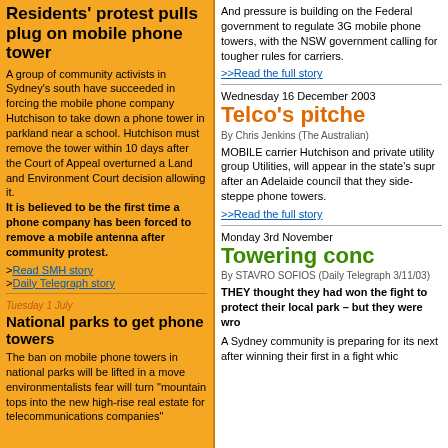Residents' protest pulls plug on mobile phone tower
A group of community activists in Sydney's south have succeeded in forcing the mobile phone company Hutchison to take down a phone tower in parkland near a school. Hutchison must remove the tower within 10 days after the Court of Appeal overturned a Land and Environment Court decision allowing it. It is believed to be the first time a phone company has been forced to remove a mobile antenna after community protest.
>Read SMH story
>Daily Telegraph story
Tuesday 1 July
National parks to get phone towers
The ban on mobile phone towers in national parks will be lifted in a move environmentalists fear will turn "mountain tops into the new high-rise real estate for telecommunications companies"
And pressure is building on the Federal government to regulate 3G mobile phone towers, with the NSW government calling for tougher rules for carriers.
>>Read the full story
Wednesday 16 December 2003
Telco's pitched
By Chris Jenkins (The Australian)
MOBILE carrier Hutchison and private utility group Utilities, will appear in the state's supreme court after an Adelaide council that they side-stepped planning rules for phone towers.
>>Read the full story
Monday 3rd November
Towering conc
By STAVRO SOFIOS (Daily Telegraph 3/11/03)
THEY thought they had won the fight to protect their local park – but they were wrong.
A Sydney community is preparing for its next battle after winning their first in a fight which